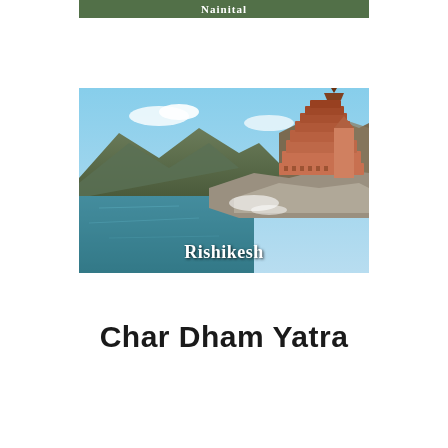[Figure (photo): Partially visible image at top of page with white text overlay reading 'Nainital' on a nature/hill station scene]
[Figure (photo): Photo of Rishikesh showing a multi-tiered temple/ashram building on the banks of the Ganges river with mountains in the background. White bold text 'Rishikesh' overlaid at bottom center.]
Char Dham Yatra